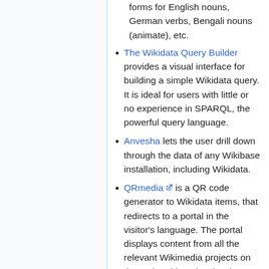forms for English nouns, German verbs, Bengali nouns (animate), etc.
The Wikidata Query Builder provides a visual interface for building a simple Wikidata query. It is ideal for users with little or no experience in SPARQL, the powerful query language.
Anvesha lets the user drill down through the data of any Wikibase installation, including Wikidata.
QRmedia [external link] is a QR code generator to Wikidata items, that redirects to a portal in the visitor's language. The portal displays content from all the relevant Wikimedia projects on the topic, with a visual style similar to the Wikipedia mobile app.
Wikimedia OCR is a Wikimedia tool